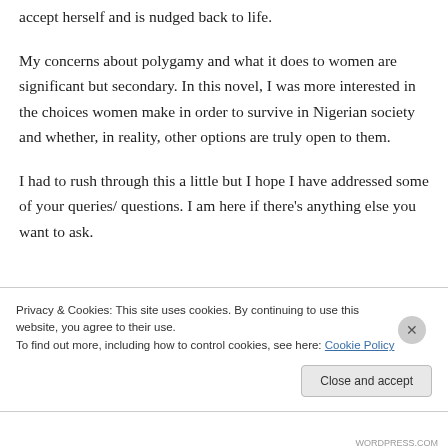accept herself and is nudged back to life.
My concerns about polygamy and what it does to women are significant but secondary. In this novel, I was more interested in the choices women make in order to survive in Nigerian society and whether, in reality, other options are truly open to them.
I had to rush through this a little but I hope I have addressed some of your queries/ questions. I am here if there's anything else you want to ask.
Privacy & Cookies: This site uses cookies. By continuing to use this website, you agree to their use.
To find out more, including how to control cookies, see here: Cookie Policy
Close and accept
WORDPRESS.COM